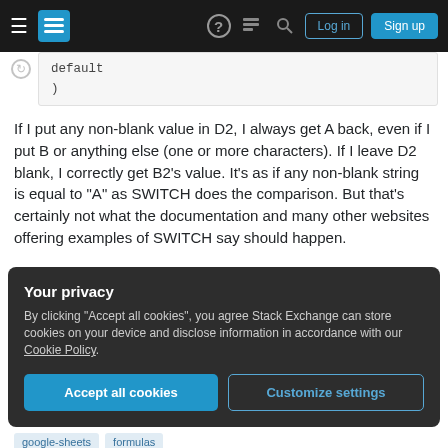Stack Exchange navigation bar with Log in and Sign up buttons
default
    )
If I put any non-blank value in D2, I always get A back, even if I put B or anything else (one or more characters). If I leave D2 blank, I correctly get B2's value. It's as if any non-blank string is equal to "A" as SWITCH does the comparison. But that's certainly not what the documentation and many other websites offering examples of SWITCH say should happen.
Your privacy
By clicking "Accept all cookies", you agree Stack Exchange can store cookies on your device and disclose information in accordance with our Cookie Policy.
Accept all cookies  Customize settings
google-sheets  formulas